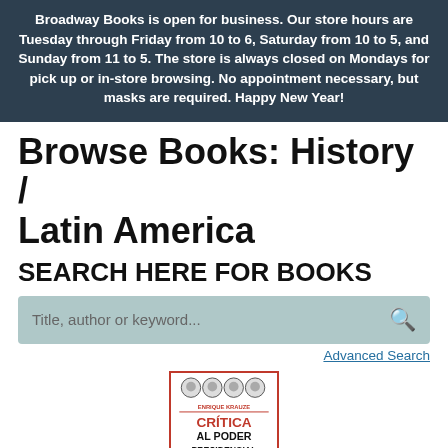Broadway Books is open for business. Our store hours are Tuesday through Friday from 10 to 6, Saturday from 10 to 5, and Sunday from 11 to 5. The store is always closed on Mondays for pick up or in-store browsing. No appointment necessary, but masks are required. Happy New Year!
Browse Books: History / Latin America
SEARCH HERE FOR BOOKS
Title, author or keyword...
Advanced Search
[Figure (illustration): Book cover of 'Crítica al Poder Presidencial' by Enrique Krauze, featuring portrait medallions and red border, with subtitle date range 1982-2021]